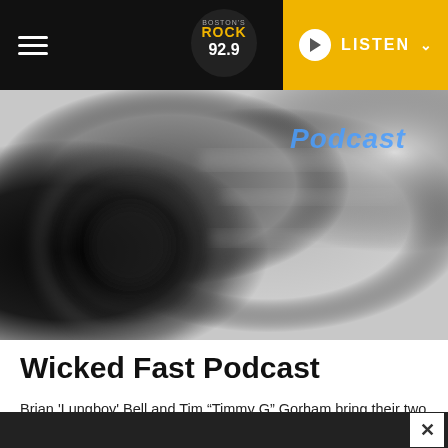Rock 92.9 — LISTEN
[Figure (photo): Blurred black and white photo of a NASCAR car wheel/tire at speed, with the word 'Podcast' visible in blue italic text overlay in the upper right]
Wicked Fast Podcast
Brian 'Lungboy' Bell and Tim "Timmy G" Gorham bring their two decades of NASCAR knowledge to bring you the best of the speedways each week. You never know who will be joining the conversation on The Wicked Fast Podcast. Past podcast guests include Danica Patrick, Ty Dillon, Chase Elliott, Austin Dillon, Matt Kenseth, and